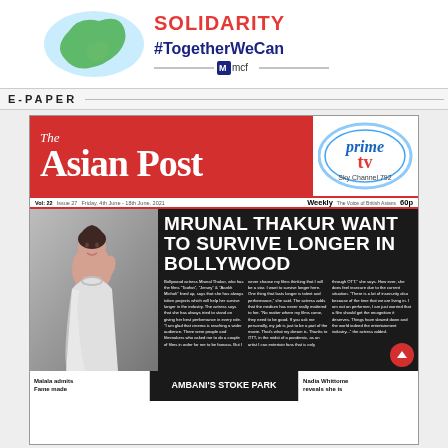[Figure (illustration): Solidarity banner with map of UK/India, #TogetherWeCan hashtag in red/blue, and MCF logo with horizontal lines]
E-PAPER
[Figure (screenshot): Front page of The Asian Post newspaper, Vol 22 Issue 27, Friday 4th June - 18th June 2021, Weekly, 60p. Features Prime TV / Sky Channel 792 logo. Main story: MRUNAL THAKUR WANT TO SURVIVE LONGER IN BOLLYWOOD with photo of actress. Bottom teasers: Malala admits Fame made, Ambani's Stoke Park, Nadia Whittome reveals she is.]